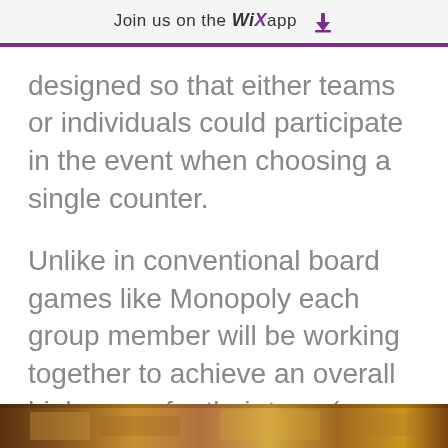Join us on the WiX app ⬇
designed so that either teams or individuals could participate in the event when choosing a single counter.
Unlike in conventional board games like Monopoly each group member will be working together to achieve an overall high score for their team(group or individuals). This makes the game less limiting to audiences and focuses the attention around discussion between players.
[Figure (photo): Partial image of what appears to be a board game or printed material, visible at the very bottom of the page.]